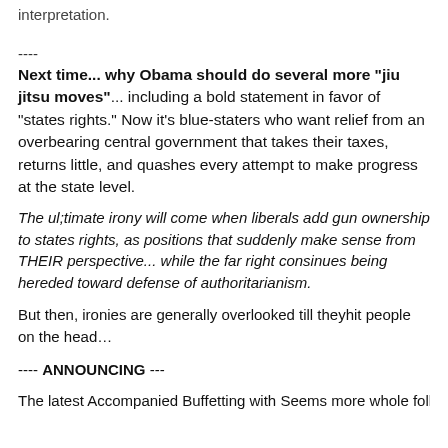interpretation.
----
Next time... why Obama should do several more “jiu jitsu moves”... including a bold statement in favor of “states rights.” Now it’s blue-staters who want relief from an overbearing central government that takes their taxes, returns little, and quashes every attempt to make progress at the state level.
The ul;timate irony will come when liberals add gun ownership to states rights, as positions that suddenly make sense from THEIR perspective... while the far right consinues being hereded toward defense of authoritarianism.
But then, ironies are generally overlooked till theyhit people on the head…
---- ANNOUNCING ---
The latest Accompanied Buffetting with Seems more whole fall...